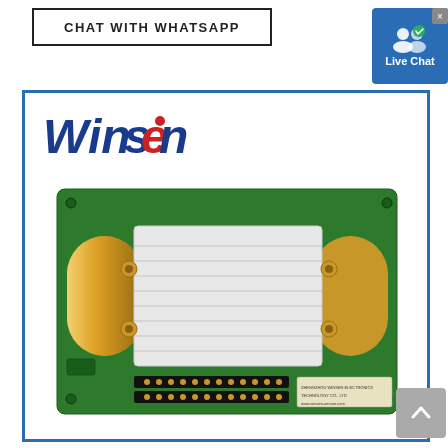CHAT WITH WHATSAPP
[Figure (screenshot): Live Chat button with user icon and checkmark, blue background]
[Figure (photo): Winsen logo and product photo of a green PCB circuit board with gold-colored NDIR infrared sensor module mounted on top, showing connector pins at the bottom]
[Figure (other): Scroll to top button, grey with upward arrow]